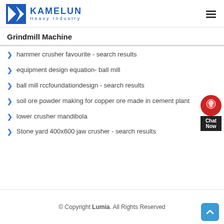KAMELUN Heavy Industry
Grindmill Machine
hammer crusher favourite - search results
equipment design equation- ball mill
ball mill rccfoundationdesign - search results
soil ore powder making for copper ore made in cement plant
lower crusher mandibola
Stone yard 400x600 jaw crusher - search results
© Copyright Lumia. All Rights Reserved